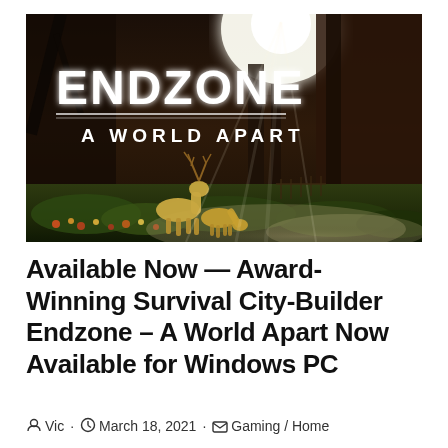[Figure (illustration): Promotional artwork for 'Endzone – A World Apart' game. Dark post-apocalyptic scene with ruined industrial buildings, glowing light from above, and two deer-like creatures in the foreground among green vegetation. White bold text reads 'ENDZONE' and below it 'A WORLD APART' with decorative lines.]
Available Now — Award-Winning Survival City-Builder Endzone – A World Apart Now Available for Windows PC
Vic · March 18, 2021 · Gaming / Home